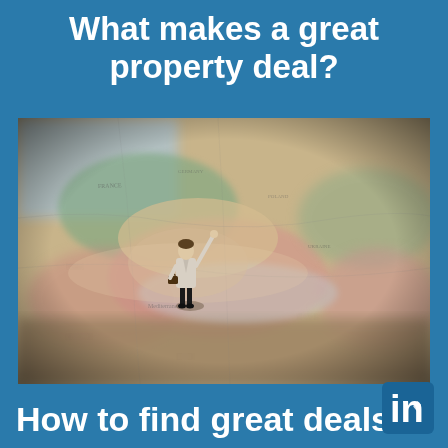What makes a great property deal?
[Figure (photo): A miniature figurine of a businessman standing on a vintage map of Europe and North Africa, pointing upward, with a briefcase in hand. The map shows countries and regions in muted colors — green, pink, beige — with text labels. The photo has a shallow depth of field, blurring the background portions of the map.]
How to find great deals in